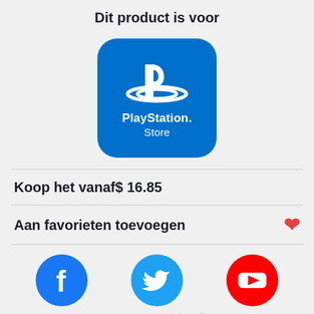Dit product is voor
[Figure (logo): PlayStation Store logo: blue rounded square with PlayStation symbol and 'PlayStation Store' text in white]
Koop het vanaf$ 16.85
Aan favorieten toevoegen ♥
[Figure (illustration): Social media icons row: Facebook, Twitter, YouTube. Text: Volg ons op social media! Second row (partial): TikTok, Instagram, Telegram]